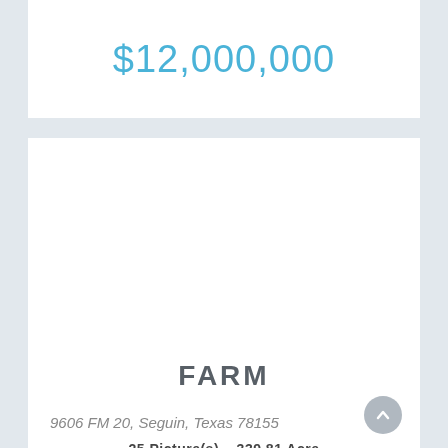$12,000,000
[Figure (photo): Property listing image placeholder - white/blank photo area]
FARM
9606 FM 20, Seguin, Texas 78155
25 Picture(s)     339.81 Acre